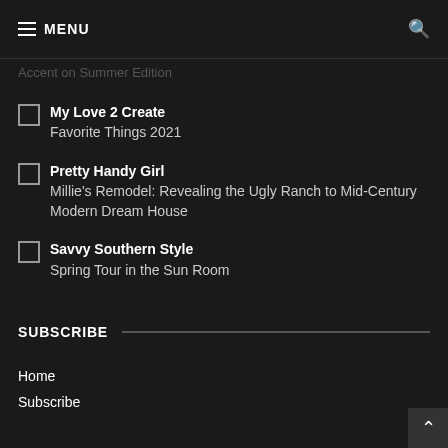MENU
Accent on Summer Edition
My Love 2 Create
Favorite Things 2021
Pretty Handy Girl
Millie's Remodel: Revealing the Ugly Ranch to Mid-Century Modern Dream House
Savvy Southern Style
Spring Tour in the Sun Room
SUBSCRIBE
Home
Subscribe